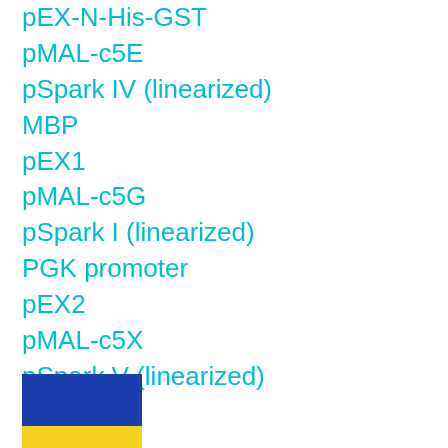pEX-N-His-GST
pMAL-c5E
pSpark IV (linearized)
MBP
pEX1
pMAL-c5G
pSpark I (linearized)
PGK promoter
pEX2
pMAL-c5X
pSpark V (linearized)
SNAP-tag
pEX3
pMAL-c5X-His
pSpot1
SP6 promoter
pEZSeq-Amp
pEZSeq-5T
pSpot2
[Figure (illustration): Ukrainian flag overlay (blue and yellow horizontal bands) partially covering list items]